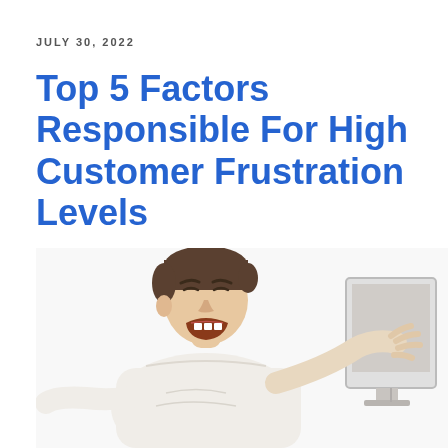JULY 30, 2022
Top 5 Factors Responsible For High Customer Frustration Levels
[Figure (photo): A man in a white shirt leaning forward and yelling/screaming at a computer monitor in frustration, with hands raised toward the screen, on a white background.]